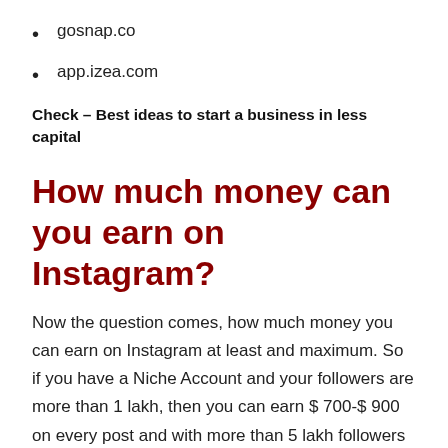gosnap.co
app.izea.com
Check – Best ideas to start a business in less capital
How much money can you earn on Instagram?
Now the question comes, how much money you can earn on Instagram at least and maximum. So if you have a Niche Account and your followers are more than 1 lakh, then you can earn $ 700-$ 900 on every post and with more than 5 lakh followers you can earn $ 2000-$ 3,000 Per Post. To understand this, we take some examples –